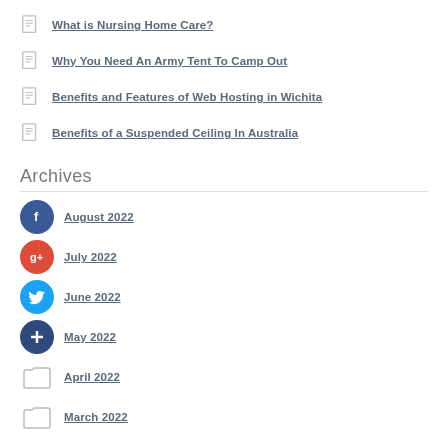What is Nursing Home Care?
Why You Need An Army Tent To Camp Out
Benefits and Features of Web Hosting in Wichita
Benefits of a Suspended Ceiling In Australia
Archives
August 2022
July 2022
June 2022
May 2022
April 2022
March 2022